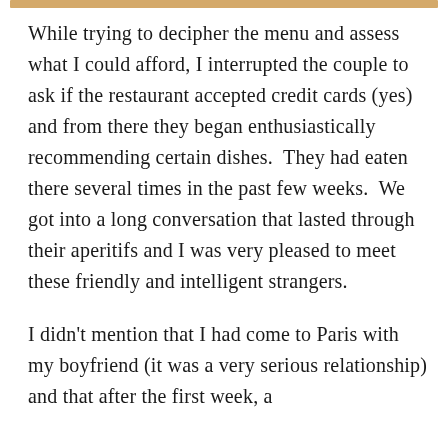While trying to decipher the menu and assess what I could afford, I interrupted the couple to ask if the restaurant accepted credit cards (yes) and from there they began enthusiastically recommending certain dishes.  They had eaten there several times in the past few weeks.  We got into a long conversation that lasted through their aperitifs and I was very pleased to meet these friendly and intelligent strangers.
I didn't mention that I had come to Paris with my boyfriend (it was a very serious relationship) and that after the first week, a